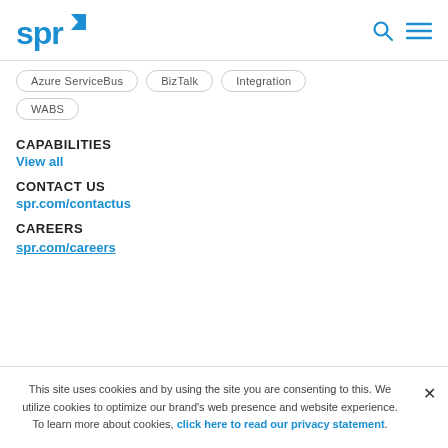spr
Azure ServiceBus
BizTalk
Integration
WABS
CAPABILITIES
View all
CONTACT US
spr.com/contactus
CAREERS
spr.com/careers
This site uses cookies and by using the site you are consenting to this. We utilize cookies to optimize our brand's web presence and website experience. To learn more about cookies, click here to read our privacy statement.